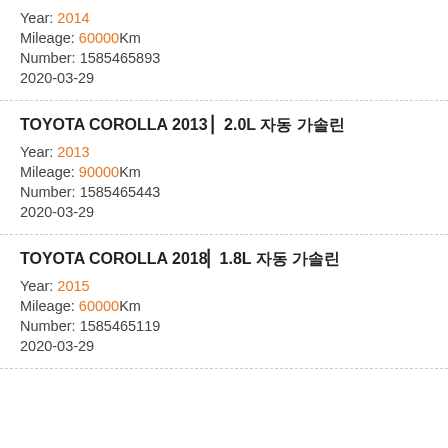Year: 2014
Mileage: 60000Km
Number: 1585465893
2020-03-29
TOYOTA COROLLA 2013 □ 2.0L □□ □□
Year: 2013
Mileage: 90000Km
Number: 1585465443
2020-03-29
TOYOTA COROLLA 2018□ 1.8L □□ □□
Year: 2015
Mileage: 60000Km
Number: 1585465119
2020-03-29